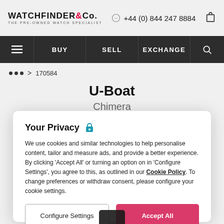WATCHFINDER&Co. THE PRE-OWNED WATCH SPECIALIST | +44 (0) 844 247 8884
BUY | SELL | EXCHANGE
... > 170584
U-Boat
Chimera
7177
Your Privacy 🔒
We use cookies and similar technologies to help personalise content, tailor and measure ads, and provide a better experience. By clicking 'Accept All' or turning an option on in 'Configure Settings', you agree to this, as outlined in our Cookie Policy. To change preferences or withdraw consent, please configure your cookie settings.
Configure Settings | Accept All